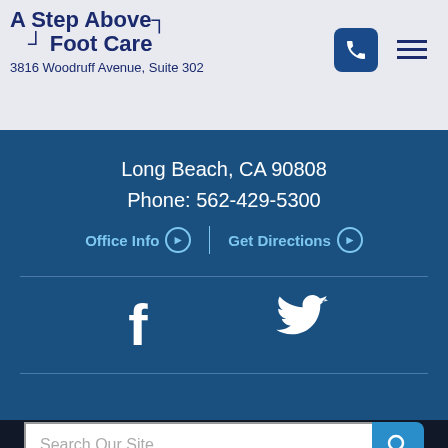A Step Above Foot Care
3816 Woodruff Avenue, Suite 302
Long Beach, CA 90808
Phone: 562-429-5300
Office Info  Get Directions
[Figure (other): Facebook and Twitter social media icons in white on blue background]
Search Our Site
©2022 A Step Above Foot Care. All Rights Reserved. Reproduced with Permission Privacy Policy
Website Built by Foster Web Marketing | Website Powered By